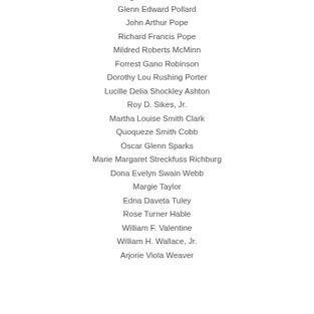Margaret Oliver Walker
Glenn Edward Pollard
John Arthur Pope
Richard Francis Pope
Mildred Roberts McMinn
Forrest Gano Robinson
Dorothy Lou Rushing Porter
Lucille Delia Shockley Ashton
Roy D. Sikes, Jr.
Martha Louise Smith Clark
Quoqueze Smith Cobb
Oscar Glenn Sparks
Marie Margaret Streckfuss Richburg
Dona Evelyn Swain Webb
Margie Taylor
Edna Daveta Tuley
Rose Turner Hable
William F. Valentine
William H. Wallace, Jr.
Arjorie Viola Weaver